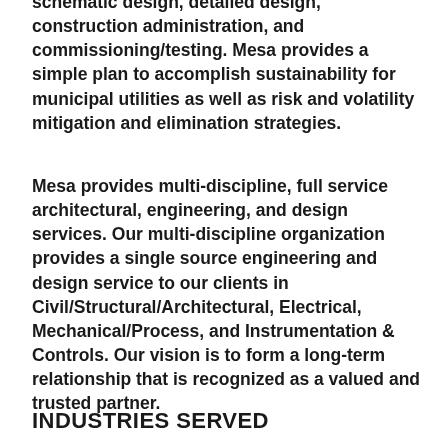schematic design, detailed design, construction administration, and commissioning/testing. Mesa provides a simple plan to accomplish sustainability for municipal utilities as well as risk and volatility mitigation and elimination strategies.
Mesa provides multi-discipline, full service architectural, engineering, and design services. Our multi-discipline organization provides a single source engineering and design service to our clients in Civil/Structural/Architectural, Electrical, Mechanical/Process, and Instrumentation & Controls. Our vision is to form a long-term relationship that is recognized as a valued and trusted partner.
INDUSTRIES SERVED